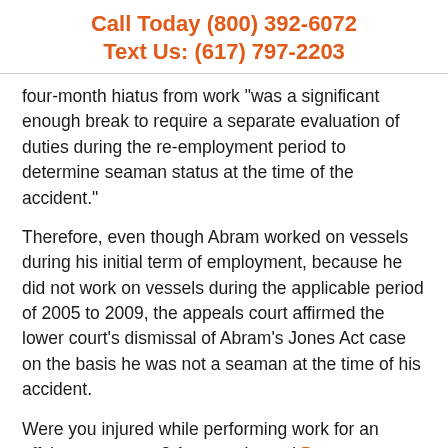Call Today (800) 392-6072
Text Us: (617) 797-2203
four-month hiatus from work "was a significant enough break to require a separate evaluation of duties during the re-employment period to determine seaman status at the time of the accident."
Therefore, even though Abram worked on vessels during his initial term of employment, because he did not work on vessels during the applicable period of 2005 to 2009, the appeals court affirmed the lower court's dismissal of Abram's Jones Act case on the basis he was not a seaman at the time of his accident.
Were you injured while performing work for an offshore company? An experienced Boston maritime attorney has the requisite knowledge to determine your eligibility for filing a Jones Act claim. Non-maritime